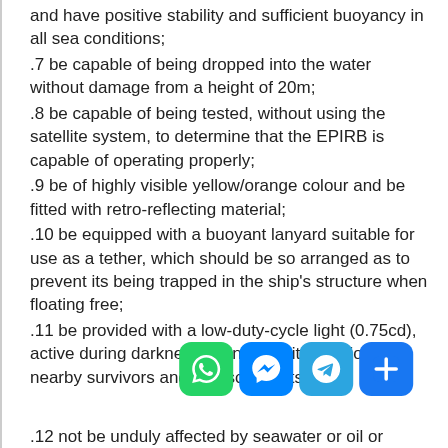and have positive stability and sufficient buoyancy in all sea conditions;
.7 be capable of being dropped into the water without damage from a height of 20m;
.8 be capable of being tested, without using the satellite system, to determine that the EPIRB is capable of operating properly;
.9 be of highly visible yellow/orange colour and be fitted with retro-reflecting material;
.10 be equipped with a buoyant lanyard suitable for use as a tether, which should be so arranged as to prevent its being trapped in the ship's structure when floating free;
.11 be provided with a low-duty-cycle light (0.75cd), active during darkness, to indicate its position to nearby survivors and to rescue units;
.12 not be unduly affected by seawater or oil or